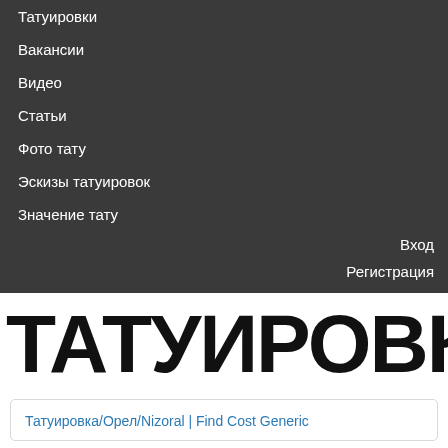Татуировки
Вакансии
Видео
Статьи
Фото тату
Эскизы татуировок
Значение тату
Вход
Регистрация
ТАТУИРОВКУ!
Татуировка/Орел/Nizoral | Find Cost Generic